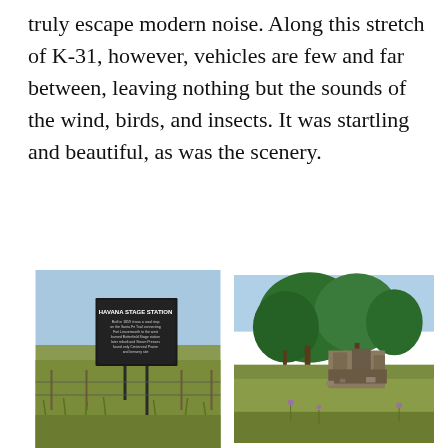truly escape modern noise. Along this stretch of K-31, however, vehicles are few and far between, leaving nothing but the sounds of the wind, birds, and insects. It was startling and beautiful, as was the scenery.
[Figure (photo): Historical marker sign reading 'HAVANA STAGE STATION' on a metal post in a grassy field with blue sky]
[Figure (photo): Ruins of an old stone structure surrounded by green trees and tall grass]
[Figure (photo): Green crop field with a large flat rock in the foreground and blue sky]
[Figure (photo): Wide open Kansas prairie landscape with trees on the horizon and blue sky]